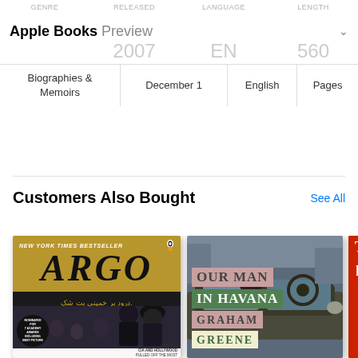GENRE | RELEASED | LANGUAGE | LENGTH
Apple Books Preview
| GENRE | RELEASED | LANGUAGE | LENGTH |
| --- | --- | --- | --- |
| Biographies & Memoirs | December 1 | English | 560 Pages |
Customers Also Bought
See All
[Figure (illustration): Book cover for ARGO - New York Times Bestseller, showing the movie poster with Ben Affleck and Ayatollah Khomeini figures, subtitle 'How the CIA and Hollywood Pulled Off the Most Audacious Rescue in History']
[Figure (illustration): Book cover for Our Man in Havana by Graham Greene, showing a vintage car scene with title text in colored banner strips]
[Figure (illustration): Partial view of a third book cover in red]